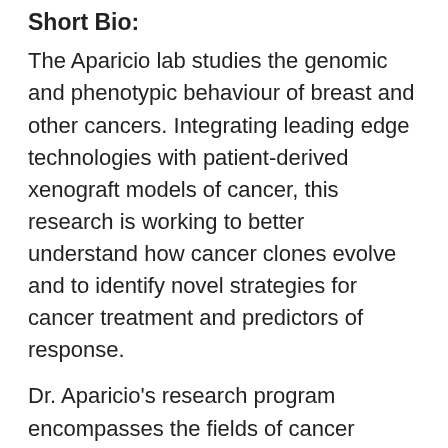Short Bio:
The Aparicio lab studies the genomic and phenotypic behaviour of breast and other cancers. Integrating leading edge technologies with patient-derived xenograft models of cancer, this research is working to better understand how cancer clones evolve and to identify novel strategies for cancer treatment and predictors of response.
Dr. Aparicio's research program encompasses the fields of cancer genomics, cancer evolution, single cell biology, mouse genetic models, high throughput screens, small molecule chemical probe development and translational breast cancer research. His work on the molecular taxonomy of breast cancer led to identification of new genes that could change the way breast cancer is diagnosed, and form the basis of next-generation